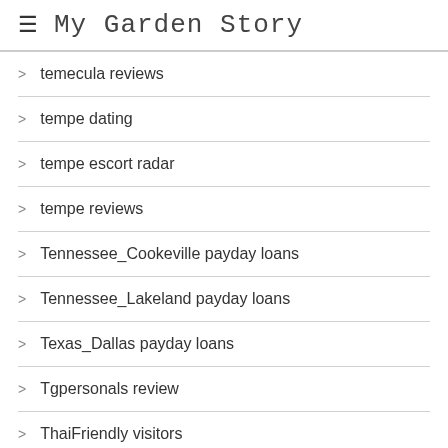My Garden Story
temecula reviews
tempe dating
tempe escort radar
tempe reviews
Tennessee_Cookeville payday loans
Tennessee_Lakeland payday loans
Texas_Dallas payday loans
Tgpersonals review
ThaiFriendly visitors